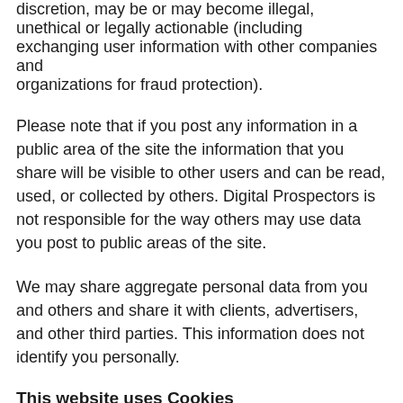discretion, may be or may become illegal, unethical or legally actionable (including exchanging user information with other companies and organizations for fraud protection).
Please note that if you post any information in a public area of the site the information that you share will be visible to other users and can be read, used, or collected by others. Digital Prospectors is not responsible for the way others may use data you post to public areas of the site.
We may share aggregate personal data from you and others and share it with clients, advertisers, and other third parties. This information does not identify you personally.
This website uses Cookies
This website uses cookies to record user-specific information about the pages you access or actions you take during your visit on our site. These cookies